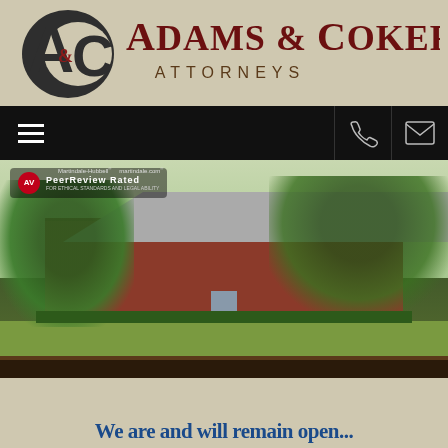[Figure (logo): Adams & Coker Attorneys logo with A&C monogram in dark charcoal and the text Adams & Coker Attorneys in dark red/maroon]
[Figure (screenshot): Navigation bar with hamburger menu icon on left and phone and email icons on right, black background]
[Figure (photo): Exterior photo of Adams & Coker Attorneys brick office building surrounded by large trees, with AV PeerReview Rated badge overlaid in top left corner]
We are and will remain open...